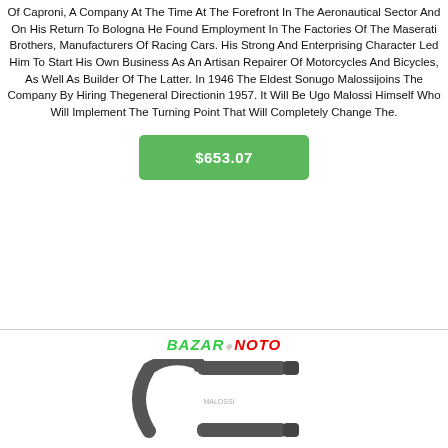Of Caproni, A Company At The Time At The Forefront In The Aeronautical Sector And On His Return To Bologna He Found Employment In The Factories Of The Maserati Brothers, Manufacturers Of Racing Cars. His Strong And Enterprising Character Led Him To Start His Own Business As An Artisan Repairer Of Motorcycles And Bicycles, As Well As Builder Of The Latter. In 1946 The Eldest Sonugo Malossijoins The Company By Hiring Thegeneral Directionin 1957. It Will Be Ugo Malossi Himself Who Will Implement The Turning Point That Will Completely Change The.
$653.07
[Figure (logo): Bazar Noto logo in green and red italic text]
[Figure (photo): A C-spanner / hook spanner tool, dark grey metallic, shown from above]